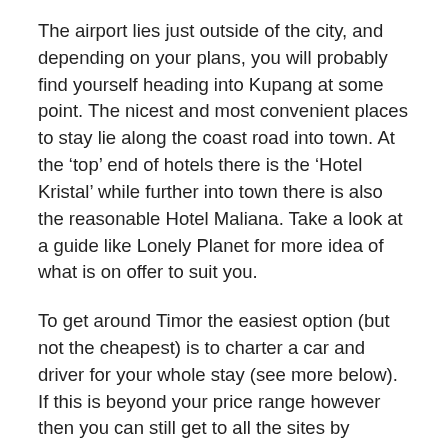The airport lies just outside of the city, and depending on your plans, you will probably find yourself heading into Kupang at some point. The nicest and most convenient places to stay lie along the coast road into town. At the ‘top’ end of hotels there is the ‘Hotel Kristal’ while further into town there is also the reasonable Hotel Maliana. Take a look at a guide like Lonely Planet for more idea of what is on offer to suit you.
To get around Timor the easiest option (but not the cheapest) is to charter a car and driver for your whole stay (see more below). If this is beyond your price range however then you can still get to all the sites by combinations of public transport (you can get anywhere in Indonesia by public transport if you have the time and patience). The best bet for up-to-date information is to interrogate the hosts at your chosen accommodation as to how to complete the next leg of your journey. Guide